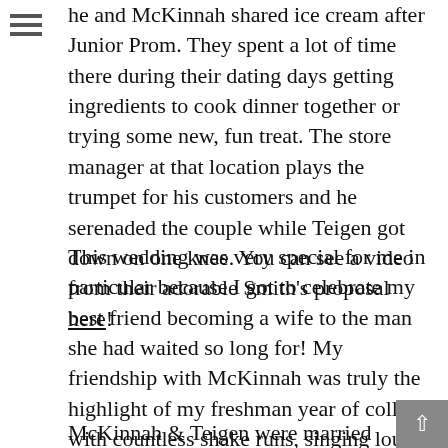he and McKinnah shared ice cream after Junior Prom. They spent a lot of time there during their dating days getting ingredients to cook dinner together or trying some new, fun treat. The store manager at that location plays the trumpet for his customers and he serenaded the couple while Teigen got down on one knee. You can see a video from their adorable Smith's proposal here!
This wedding was very special for me in particular because I got to celebrate my best friend becoming a wife to the man she had waited so long for! My friendship with McKinnah was truly the highlight of my freshman year of college with countless shake runs, singing loudly out the sunroof of my car, and binge-watching Netflix. I was so honored to be one of her bridesmaids as well as their wedding photographer.
McKinnah & Teigen were married in the Oquirrh Mountain LDS Temple on a lovely day in June. Afterward, friends and family joined them at a